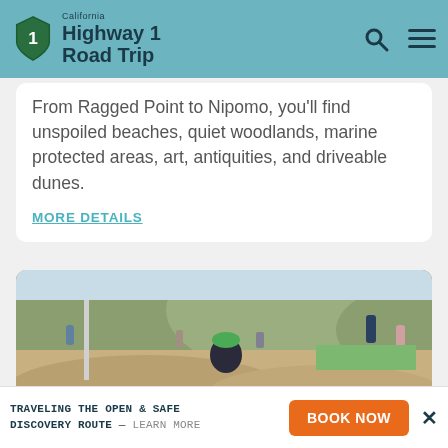California Highway 1 Road Trip
From Ragged Point to Nipomo, you'll find unspoiled beaches, quiet woodlands, marine protected areas, art, antiquities, and driveable dunes.
MORE DETAILS
[Figure (photo): Children playing outdoors at a park with sandy rock features. A smiling girl in a green hat climbs over large rock formations in the foreground, with other children and adults visible in the background against green hills.]
TRAVELING THE OPEN & SAFE DISCOVERY ROUTE — LEARN MORE
BOOK NOW